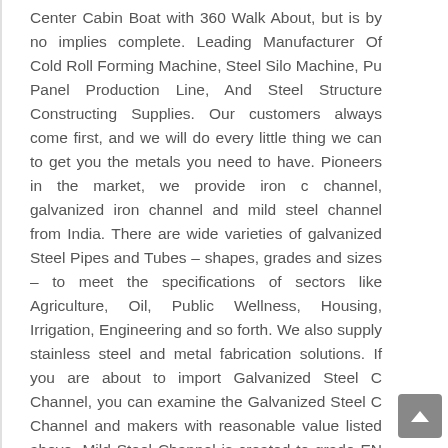Center Cabin Boat with 360 Walk About, but is by no implies complete. Leading Manufacturer Of Cold Roll Forming Machine, Steel Silo Machine, Pu Panel Production Line, And Steel Structure Constructing Supplies. Our customers always come first, and we will do every little thing we can to get you the metals you need to have. Pioneers in the market, we provide iron c channel, galvanized iron channel and mild steel channel from India. There are wide varieties of galvanized Steel Pipes and Tubes – shapes, grades and sizes – to meet the specifications of sectors like Agriculture, Oil, Public Wellness, Housing, Irrigation, Engineering and so forth. We also supply stainless steel and metal fabrication solutions. If you are about to import Galvanized Steel C Channel, you can examine the Galvanized Steel C Channel and makers with reasonable value listed above. Mild Steel Channel is created to grade EN 10025-two S275JR one particular of the most extensively use steel specifications for general construction. It is with